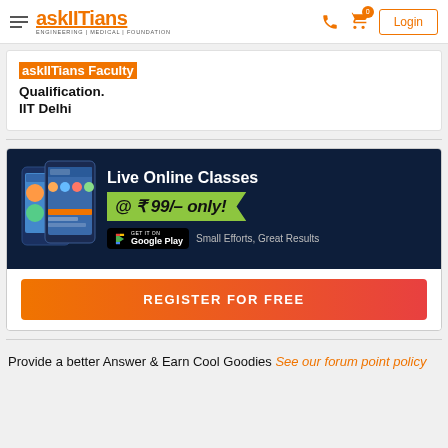askIITians | ENGINEERING | MEDICAL | FOUNDATION
askIITians Faculty
Qualification.
IIT Delhi
[Figure (infographic): Live Online Classes @ ₹ 99/- only! Small Efforts, Great Results. GET IT ON Google Play. REGISTER FOR FREE button.]
Provide a better Answer & Earn Cool Goodies See our forum point policy